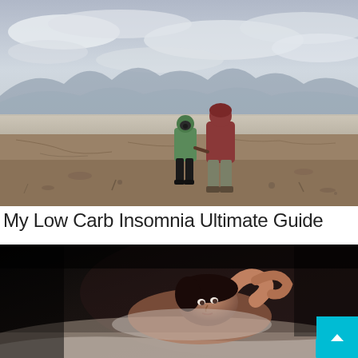[Figure (photo): Two people standing on a barren, cracked desert landscape under overcast skies. A child wearing a green hoodie and a gas mask holds hands with an adult in a maroon hoodie and gray cargo pants, both facing away from the camera toward distant mountains.]
My Low Carb Insomnia Ultimate Guide
[Figure (photo): A person lying in bed awake at night, hand behind head, looking distressed. The scene is dark with a faint blue clock light visible in the corner, suggesting insomnia.]